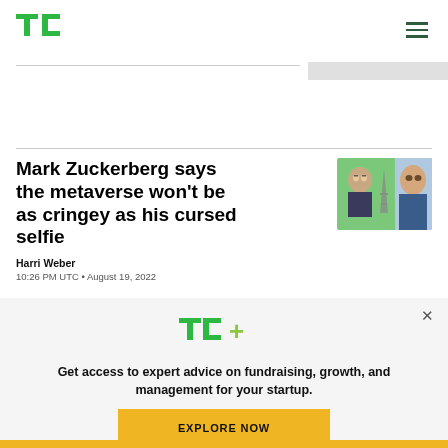TechCrunch
Mark Zuckerberg says the metaverse won't be as cringey as his cursed selfie
[Figure (photo): Thumbnail image of metaverse avatars and Mark Zuckerberg]
Harri Weber
10:26 PM UTC • August 19, 2022
[Figure (logo): TC+ logo — TechCrunch Plus in green with plus sign in yellow-green]
Get access to expert advice on fundraising, growth, and management for your startup.
EXPLORE NOW